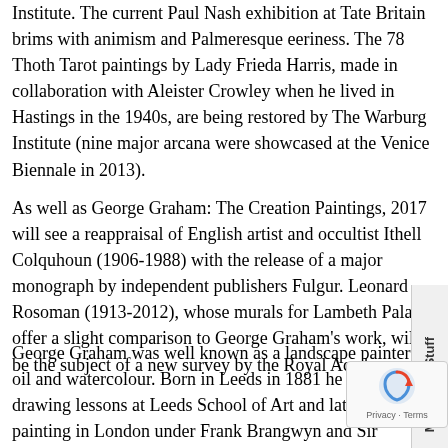Institute. The current Paul Nash exhibition at Tate Britain brims with animism and Palmeresque eeriness. The 78 Thoth Tarot paintings by Lady Frieda Harris, made in collaboration with Aleister Crowley when he lived in Hastings in the 1940s, are being restored by The Warburg Institute (nine major arcana were showcased at the Venice Biennale in 2013).
As well as George Graham: The Creation Paintings, 2017 will see a reappraisal of English artist and occultist Ithell Colquhoun (1906-1988) with the release of a major monograph by independent publishers Fulgur. Leonard Rosoman (1913-2012), whose murals for Lambeth Palace offer a slight comparison to George Graham's work, will be the subject of a new survey by the Royal Academy.
George Graham was well known as a landscape painter in oil and watercolour. Born in Leeds in 1881 he took drawing lessons at Leeds School of Art and later studied painting in London under Frank Brangwyn and Sir William Nicholson. He exhibited at the Royal Academy 1908-1947, at the Royal Scottish Academy from